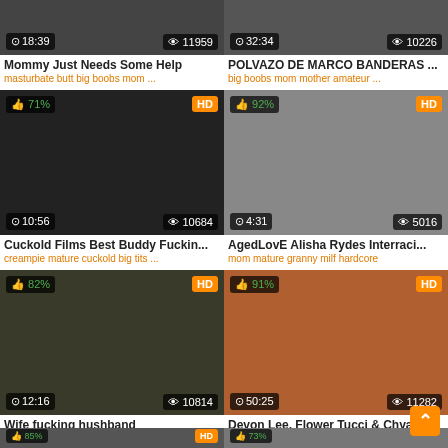[Figure (screenshot): Video thumbnail grid showing adult video website with thumbnails, titles, tags, duration and view counts]
Mommy Just Needs Some Help
masturbate butt big boobs mom ...
POLVAZO DE MARCO BANDERAS ...
big boobs mom mother amateur ...
Cuckold Films Best Buddy Fuckin...
creampie mature cuckold big tits ...
AgedLovE Alisha Rydes Interraci...
mom mature granny milf hardcore
Wife fucking hushband
big cock mom mother desi wife
Devon Lee, Flower Tucci & Chyan...
black group mother small tits big...